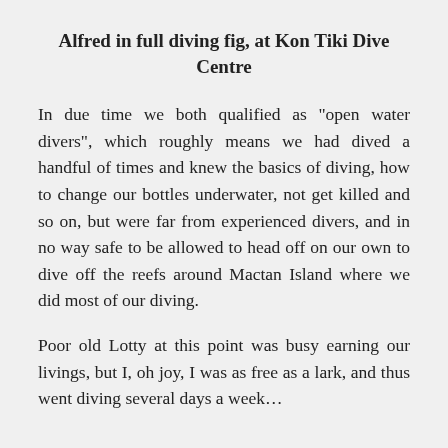Alfred in full diving fig, at Kon Tiki Dive Centre
In due time we both qualified as “open water divers”, which roughly means we had dived a handful of times and knew the basics of diving, how to change our bottles underwater, not get killed and so on, but were far from experienced divers, and in no way safe to be allowed to head off on our own to dive off the reefs around Mactan Island where we did most of our diving.
Poor old Lotty at this point was busy earning our livings, but I, oh joy, I was as free as a lark, and thus went diving several days a week… Which gave being I was able to build diving